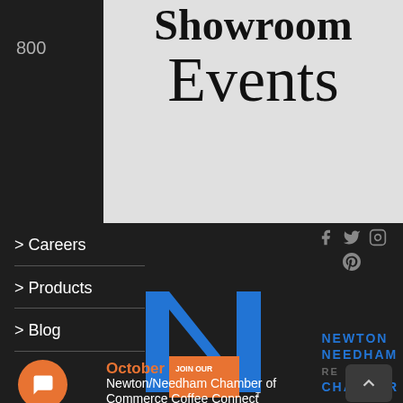Showroom Events
800
> Careers
> Products
> Blog
[Figure (screenshot): Newton Needham Chamber logo with large blue N]
NEWTON
NEEDHAM
CHAMBER
[Figure (screenshot): Chat popup with avatar: How are you today? How can we help?]
How are you today? How can we help?
October 2
Newton/Needham Chamber of Commerce Coffee Connect
8 – 9 AM